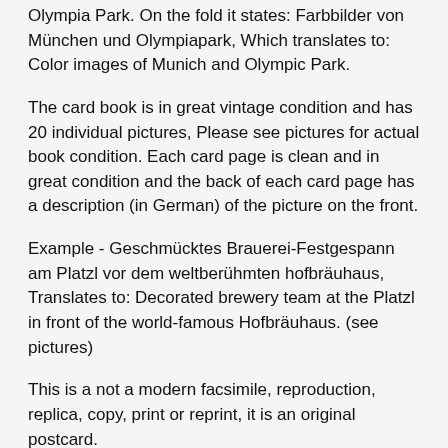Olympia Park. On the fold it states: Farbbilder von München und Olympiapark, Which translates to: Color images of Munich and Olympic Park.
The card book is in great vintage condition and has 20 individual pictures, Please see pictures for actual book condition. Each card page is clean and in great condition and the back of each card page has a description (in German) of the picture on the front.
Example - Geschmücktes Brauerei-Festgespann am Platzl vor dem weltberühmten hofbräuhaus, Translates to: Decorated brewery team at the Platzl in front of the world-famous Hofbräuhaus. (see pictures)
This is a not a modern facsimile, reproduction, replica, copy, print or reprint, it is an original postcard.
Each Card Page measures 4 1/8 inches wide and 2 7/8 inches tall.